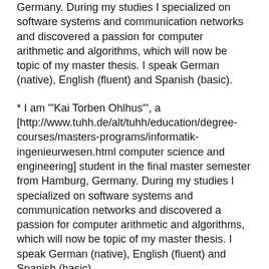Germany. During my studies I specialized on software systems and communication networks and discovered a passion for computer arithmetic and algorithms, which will now be topic of my master thesis. I speak German (native), English (fluent) and Spanish (basic).
* I am '"Kai Torben Ohlhus"', a [http://www.tuhh.de/alt/tuhh/education/degree-courses/masters-programs/informatik-ingenieurwesen.html computer science and engineering] student in the final master semester from Hamburg, Germany. During my studies I specialized on software systems and communication networks and discovered a passion for computer arithmetic and algorithms, which will now be topic of my master thesis. I speak German (native), English (fluent) and Spanish (basic).
* My intention to participate in the GSoC 2013 is to work on a software project that can be part of my master thesis, which will begin in April. Till now I have not participated in any GSoC and this year will be my last chance to do so.